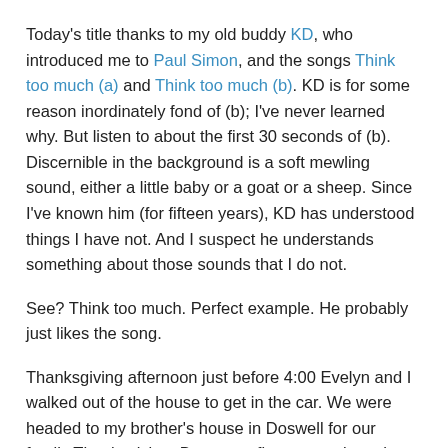Today's title thanks to my old buddy KD, who introduced me to Paul Simon, and the songs Think too much (a) and Think too much (b). KD is for some reason inordinately fond of (b); I've never learned why. But listen to about the first 30 seconds of (b). Discernible in the background is a soft mewling sound, either a little baby or a goat or a sheep. Since I've known him (for fifteen years), KD has understood things I have not. And I suspect he understands something about those sounds that I do not.
See? Think too much. Perfect example. He probably just likes the song.
Thanksgiving afternoon just before 4:00 Evelyn and I walked out of the house to get in the car. We were headed to my brother's house in Doswell for our family Thanksgiving. But as we first stepped out there was a...